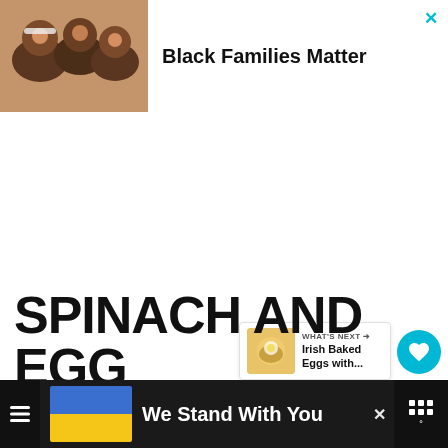[Figure (photo): Advertisement banner with family photo. Shows a group of smiling Black family members lying down together. Text reads 'Black Families Matter'. Close button (×) in cyan top right.]
[Figure (infographic): Heart (like) button in teal circle, count of 29, and share button in light circle on right side of page.]
[Figure (screenshot): What's Next panel showing a food photo of Irish Baked Eggs with arrow and label 'WHAT'S NEXT →']
SPINACH AND EGG
[Figure (infographic): Bottom advertisement banner on dark background. Ukrainian flag (blue and yellow). Text reads 'We Stand With You'. Close button × visible. App icon on far right showing grid/dots pattern.]